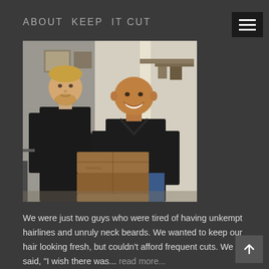ABOUT  KEEP  IT CUT
[Figure (photo): Two men standing in what appears to be a barbershop or studio. The man on the left is taller, wearing a black button-up shirt, with short blond hair and a beard. The man on the right is wearing a black V-neck t-shirt, smiling broadly, with a shaved head. They are standing near stacked wooden boxes/crates.]
We were just two guys who were tired of having unkempt hairlines and unruly neck beards. We wanted to keep our hair looking fresh, but couldn't afford frequent cuts. We said, "I wish there was... read more...